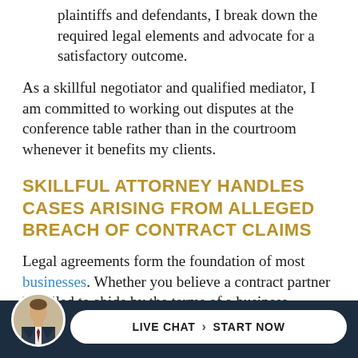plaintiffs and defendants, I break down the required legal elements and advocate for a satisfactory outcome.
As a skillful negotiator and qualified mediator, I am committed to working out disputes at the conference table rather than in the courtroom whenever it benefits my clients.
SKILLFUL ATTORNEY HANDLES CASES ARISING FROM ALLEGED BREACH OF CONTRACT CLAIMS
Legal agreements form the foundation of most businesses. Whether you believe a contract partner has filed to abide by the terms of a business transaction agreement or you have been accused of
[Figure (photo): Headshot of an attorney in a suit, circular avatar photo in the footer bar]
LIVE CHAT › START NOW